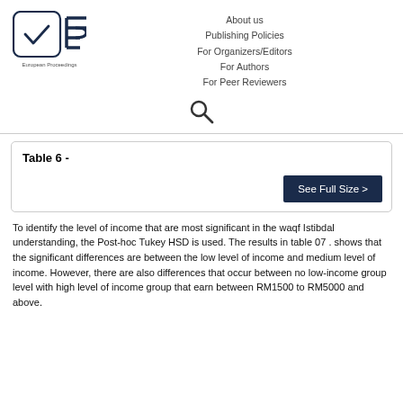[Figure (logo): European Proceedings logo with checkmark in rounded square and EP symbol]
About us
Publishing Policies
For Organizers/Editors
For Authors
For Peer Reviewers
[Figure (other): Search icon (magnifying glass)]
Table 6 -
See Full Size >
To identify the level of income that are most significant in the waqf Istibdal understanding, the Post-hoc Tukey HSD is used. The results in table 07 . shows that the significant differences are between the low level of income and medium level of income. However, there are also differences that occur between no low-income group level with high level of income group that earn between RM1500 to RM5000 and above.